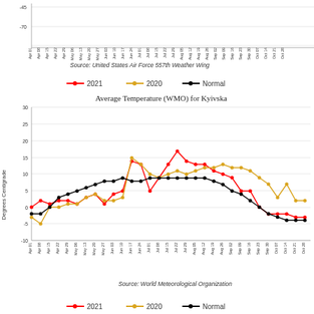[Figure (continuous-plot): Partial top chart (cropped) showing temperature lines for 2021, 2020, Normal with x-axis dates from Apr 01 to Oct, y-axis from -70 to -45 visible]
Source: United States Air Force 557th Weather Wi...
[Figure (line-chart): Legend showing red line=2021, gold line=2020, black line=Normal]
Average Temperature (WMO) for Kyivska
[Figure (line-chart): Average Temperature (WMO) for Kyivska]
Source: World Meteorological Organization
[Figure (line-chart): Legend showing red line=2021, gold line=2020, black line=Normal (partial, bottom of page)]